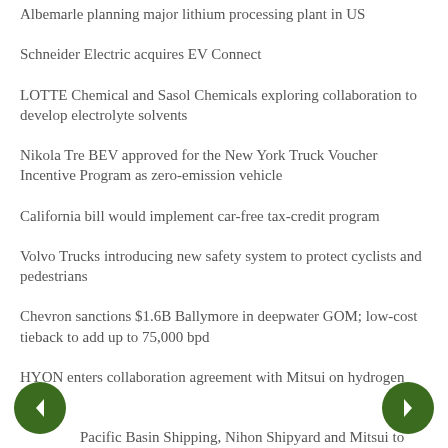Albemarle planning major lithium processing plant in US
Schneider Electric acquires EV Connect
LOTTE Chemical and Sasol Chemicals exploring collaboration to develop electrolyte solvents
Nikola Tre BEV approved for the New York Truck Voucher Incentive Program as zero-emission vehicle
California bill would implement car-free tax-credit program
Volvo Trucks introducing new safety system to protect cyclists and pedestrians
Chevron sanctions $1.6B Ballymore in deepwater GOM; low-cost tieback to add up to 75,000 bpd
HYON enters collaboration agreement with Mitsui on hydrogen fueling
Pacific Basin Shipping, Nihon Shipyard and Mitsui to collaborate on zero-emissions vessels